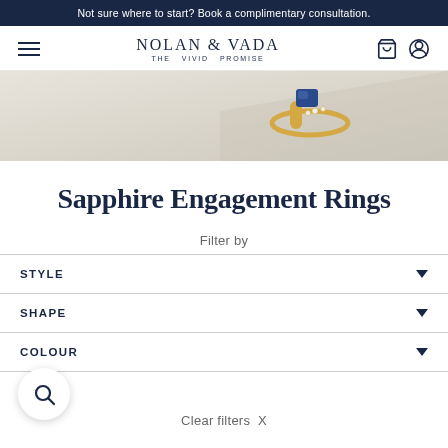Not sure where to start? Book a complimentary consultation.
NOLAN & VADA THE VIVID PROMISE
[Figure (photo): Partial hero image showing a gold ring with a blue sapphire gemstone on a light beige surface]
Sapphire Engagement Rings
Filter by
STYLE
SHAPE
COLOUR
Clear filters X